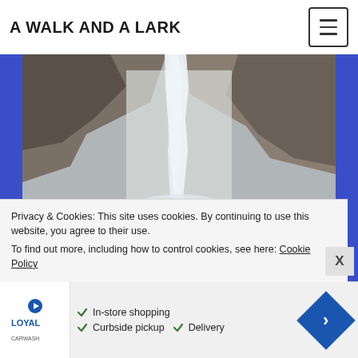A WALK AND A LARK
[Figure (photo): A large waterfall cascading down rocky cliffs with mist rising at the base, surrounded by boulders, rushing white water, and small evergreen trees]
Privacy & Cookies: This site uses cookies. By continuing to use this website, you agree to their use.
To find out more, including how to control cookies, see here: Cookie Policy
[Figure (other): Advertisement banner with Loyal Carwash logo, checkmarks for In-store shopping, Curbside pickup, and Delivery, plus a blue diamond arrow icon]